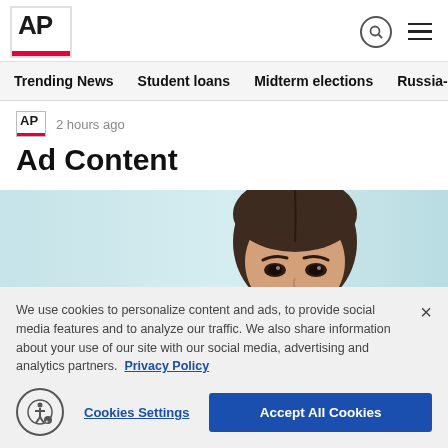AP
Trending News   Student loans   Midterm elections   Russia-Ukr
2 hours ago
Ad Content
[Figure (photo): Photo of a young woman with brown hair on a light teal background, cropped to show forehead and eyes.]
We use cookies to personalize content and ads, to provide social media features and to analyze our traffic. We also share information about your use of our site with our social media, advertising and analytics partners. Privacy Policy
Cookies Settings   Accept All Cookies